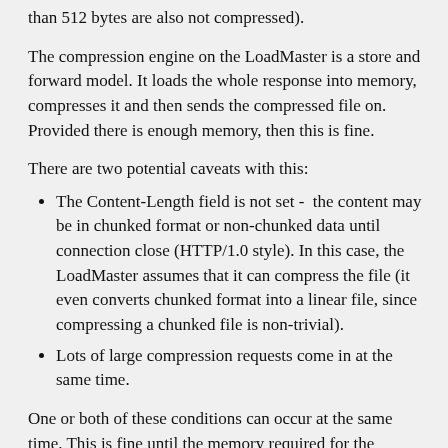than 512 bytes are also not compressed).
The compression engine on the LoadMaster is a store and forward model. It loads the whole response into memory, compresses it and then sends the compressed file on. Provided there is enough memory, then this is fine.
There are two potential caveats with this:
The Content-Length field is not set -  the content may be in chunked format or non-chunked data until connection close (HTTP/1.0 style). In this case, the LoadMaster assumes that it can compress the file (it even converts chunked format into a linear file, since compressing a chunked file is non-trivial).
Lots of large compression requests come in at the same time.
One or both of these conditions can occur at the same time. This is fine until the memory required for the responses